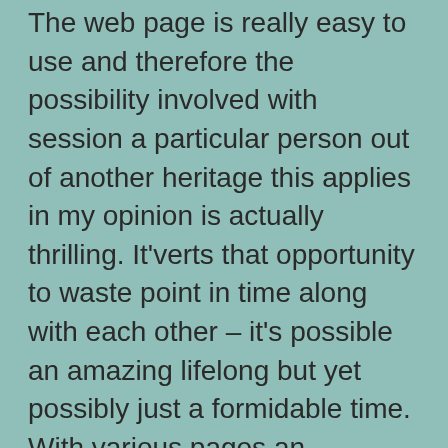The web page is really easy to use and therefore the possibility involved with session a particular person out of another heritage this applies in my opinion is actually thrilling. It'verts that opportunity to waste point in time along with each other – it's possible an amazing lifelong but yet possibly just a formidable time. With various pages an individual can show a distinct part to people. The same does work for the purpose of on the net seeing profiles. Not to mention, understandably one are an crucial unaccompanied mum, not to mention it'azines hard to get for a second time apart on view